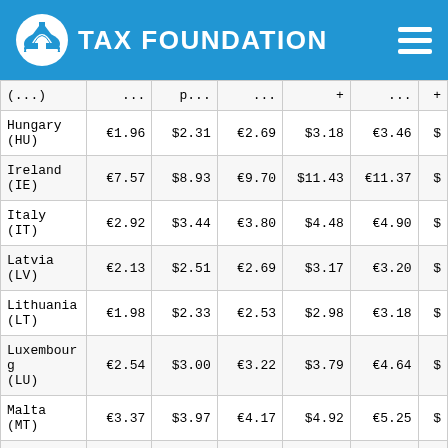TAX FOUNDATION
| Country | Col1 | Col2 | Col3 | Col4 | Col5 | Col6 |
| --- | --- | --- | --- | --- | --- | --- |
| Hungary (HU) | €1.96 | $2.31 | €2.69 | $3.18 | €3.46 | $... |
| Ireland (IE) | €7.57 | $8.93 | €9.70 | $11.43 | €11.37 | $... |
| Italy (IT) | €2.92 | $3.44 | €3.80 | $4.48 | €4.90 | $... |
| Latvia (LV) | €2.13 | $2.51 | €2.69 | $3.17 | €3.20 | $... |
| Lithuania (LT) | €1.98 | $2.33 | €2.53 | $2.98 | €3.18 | $... |
| Luxembourg (LU) | €2.54 | $3.00 | €3.22 | $3.79 | €4.64 | $... |
| Malta (MT) | €3.37 | $3.97 | €4.17 | $4.92 | €5.25 | $... |
| Netherlands (NL) | €3.81 | $4.50 | €4.89 | $5.76 | €6.19 | $... |
| Poland (PL) | €1.99 | $2.35 | €2.60 | $3.06 | €3.26 | $... |